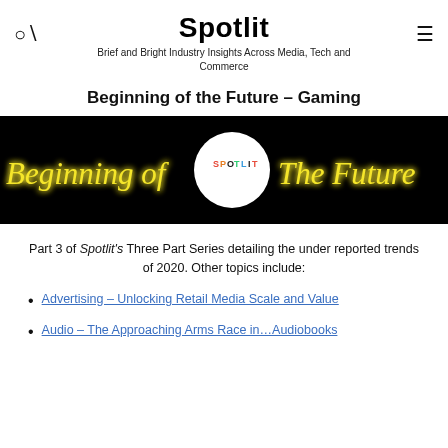Spotlit
Brief and Bright Industry Insights Across Media, Tech and Commerce
Beginning of the Future – Gaming
[Figure (illustration): Black banner image with neon yellow glowing cursive text 'Beginning of The Future' with a white circle in the center containing the Spotlit logo text in colorful letters 'SPOTLIT']
Part 3 of Spotlit's Three Part Series detailing the under reported trends of 2020. Other topics include:
Advertising – Unlocking Retail Media Scale and Value
Audio – The Approaching Arms Race in…Audiobooks